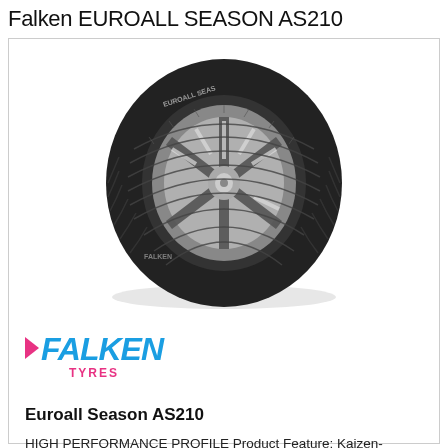Falken EUROALL SEASON AS210
[Figure (photo): Product photo of a Falken EUROALL SEASON AS210 tyre mounted on a silver multi-spoke alloy wheel, shown at an angle against a white background.]
[Figure (logo): Falken Tyres logo — FALKEN in large bold italic blue letters with a pink arrow/chevron on the left, TYRES in smaller pink capitals centered below.]
Euroall Season AS210
HIGH PERFORMANCE PROFILE Product Feature: Kaizen-